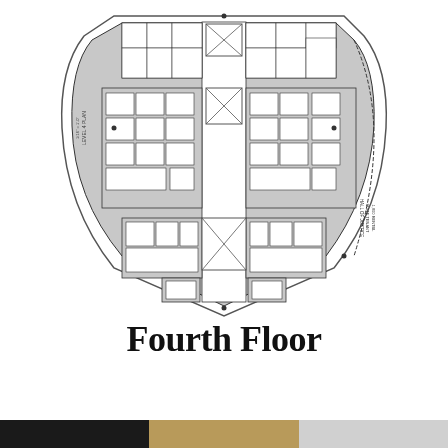[Figure (engineering-diagram): Fourth floor architectural plan of a shield/kite-shaped building with multiple office/room layouts, stairwells, elevators, corridors shown in gray fill, with small annotation labels on the left and right sides.]
Fourth Floor